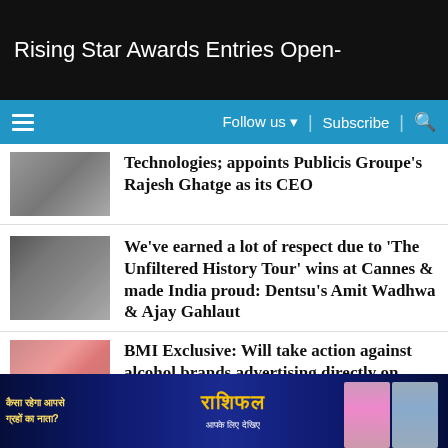Rising Star Awards Entries Open-
Follow us ▾ | Subscribe | 🔍
Technologies; appoints Publicis Groupe's Rajesh Ghatge as its CEO
We've earned a lot of respect due to 'The Unfiltered History Tour' wins at Cannes & made India proud: Dentsu's Amit Wadhwa & Ajay Gahlaut
BMI Exclusive: Will take action against alcohol brands advertising directly on digital, says CCPA's
[Figure (photo): Advertisement banner with Hindi text and astrological/Rashifal branding]
[Figure (photo): News article thumbnail image showing two people]
[Figure (photo): News article thumbnail showing a woman]
[Figure (photo): News article thumbnail showing person (partially visible)]